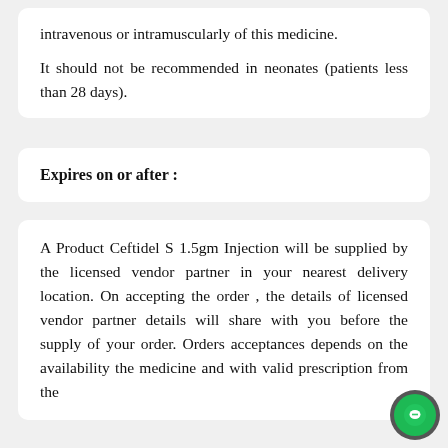intravenous or intramuscularly of this medicine.

It should not be recommended in neonates (patients less than 28 days).
Expires on or after :
A Product Ceftidel S 1.5gm Injection will be supplied by the licensed vendor partner in your nearest delivery location. On accepting the order , the details of licensed vendor partner details will share with you before the supply of your order. Orders acceptances depends on the availability the medicine and with valid prescription from the